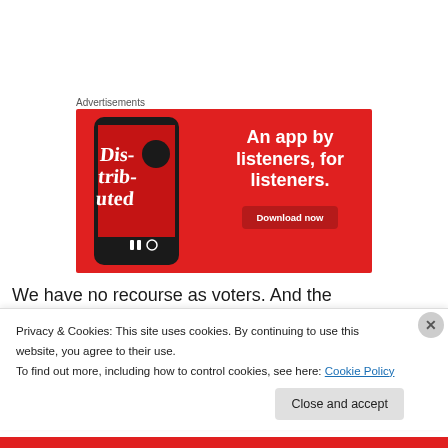Advertisements
[Figure (illustration): Red advertisement banner for a podcast app showing a smartphone with 'Dis-tri-bu-ted' podcast art and text 'An app by listeners, for listeners.' with a 'Download now' button.]
We have no recourse as voters. And the politicians and
Privacy & Cookies: This site uses cookies. By continuing to use this website, you agree to their use.
To find out more, including how to control cookies, see here: Cookie Policy
Close and accept